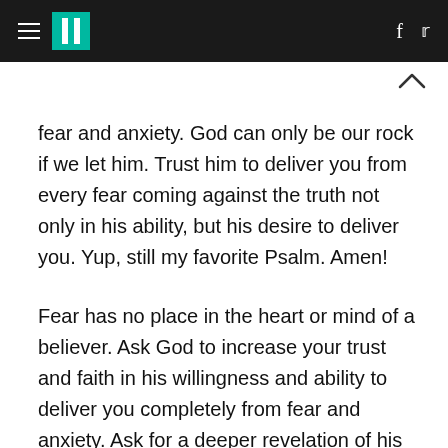HuffPost navigation header with hamburger menu, logo, Facebook and Twitter icons
fear and anxiety. God can only be our rock if we let him. Trust him to deliver you from every fear coming against the truth not only in his ability, but his desire to deliver you. Yup, still my favorite Psalm. Amen!
Fear has no place in the heart or mind of a believer. Ask God to increase your trust and faith in his willingness and ability to deliver you completely from fear and anxiety. Ask for a deeper revelation of his love, and watch how powerfully he moves.